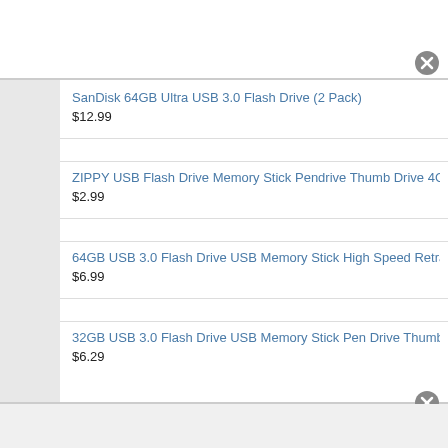SanDisk 64GB Ultra USB 3.0 Flash Drive (2 Pack) $12.99
ZIPPY USB Flash Drive Memory Stick Pendrive Thumb Drive 4GB, 8... $2.99
64GB USB 3.0 Flash Drive USB Memory Stick High Speed Retracta... $6.99
32GB USB 3.0 Flash Drive USB Memory Stick Pen Drive Thumb Sto... $6.29